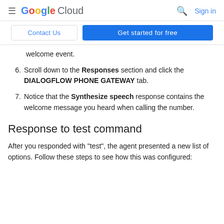Google Cloud  Sign in
[Figure (screenshot): Contact Us and Get started for free buttons]
welcome event.
6. Scroll down to the Responses section and click the DIALOGFLOW PHONE GATEWAY tab.
7. Notice that the Synthesize speech response contains the welcome message you heard when calling the number.
Response to test command
After you responded with "test", the agent presented a new list of options. Follow these steps to see how this was configured: